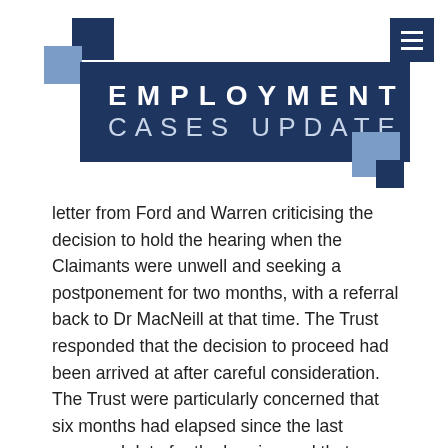[Figure (logo): Employment Cases Update logo with dark navy banner and decorative blue squares]
letter from Ford and Warren criticising the decision to hold the hearing when the Claimants were unwell and seeking a postponement for two months, with a referral back to Dr MacNeill at that time. The Trust responded that the decision to proceed had been arrived at after careful consideration. The Trust were particularly concerned that six months had elapsed since the last proposed date for the hearing and that now a further two months delay was being proposed. This difficult